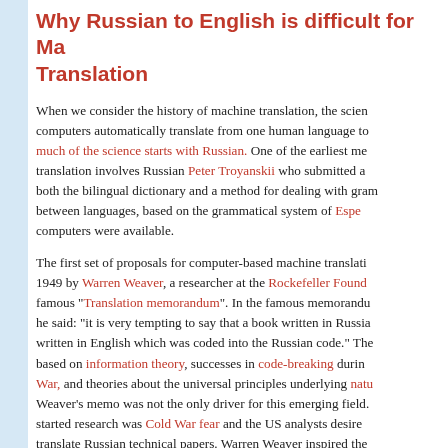Why Russian to English is difficult for Machine Translation
When we consider the history of machine translation, the science of making computers automatically translate from one human language to another, much of the science starts with Russian. One of the earliest mentions of machine translation involves Russian Peter Troyanskii who submitted a patent covering both the bilingual dictionary and a method for dealing with grammatical roles between languages, based on the grammatical system of Esperanto, before computers were available.
The first set of proposals for computer-based machine translation was made in 1949 by Warren Weaver, a researcher at the Rockefeller Foundation in his famous "Translation memorandum". In the famous memorandum written in 1947, he said: "it is very tempting to say that a book written in Russian is really written in English which was coded into the Russian code." The ideas were based on information theory, successes in code-breaking during the Second World War, and theories about the universal principles underlying natural language. Weaver's memo was not the only driver for this emerging field. Another thing that started research was Cold War fear and the US analysts desired to be able to translate Russian technical papers. Warren Weaver inspired the Association for Computational Language Weaver to name themselves after him in the early 90s.